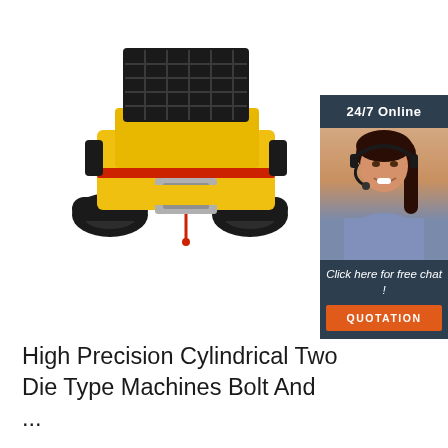[Figure (photo): Yellow and black tracked construction machine (crawler type vehicle with black metal cage/guard on top, yellow body, black rubber tracks, and a front attachment/winch). Viewed from the front-left angle.]
[Figure (infographic): Sidebar widget with dark blue-grey background. Top section shows '24/7 Online' text. Middle section shows a photo of a smiling woman wearing a headset. Bottom section shows 'Click here for free chat!' text and an orange 'QUOTATION' button.]
High Precision Cylindrical Two Die Type Machines Bolt And ...